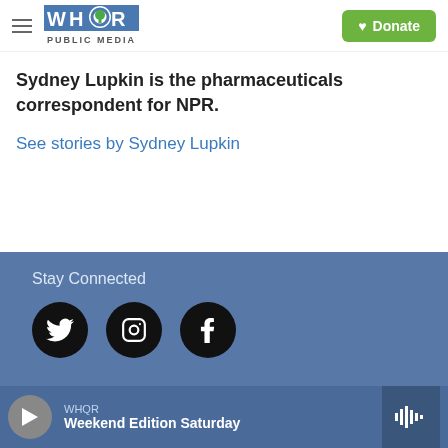WHQR Public Media — Donate
Sydney Lupkin is the pharmaceuticals correspondent for NPR.
See stories by Sydney Lupkin
Stay Connected
[Figure (infographic): Three social media icons in black circles: Twitter (bird), Instagram (camera outline), Facebook (f)]
WHQR — Weekend Edition Saturday (player bar)